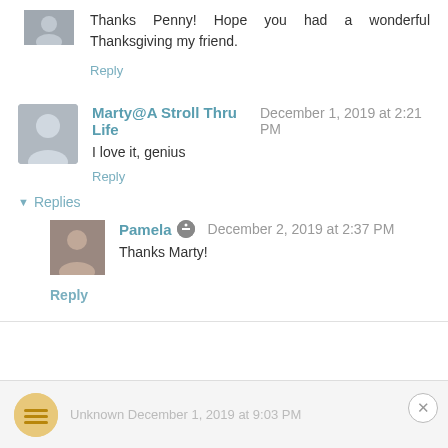Thanks Penny! Hope you had a wonderful Thanksgiving my friend.
Reply
Marty@A Stroll Thru Life  December 1, 2019 at 2:21 PM
I love it, genius
Reply
▾ Replies
Pamela  December 2, 2019 at 2:37 PM
Thanks Marty!
Reply
Unknown  December 1, 2019 at 9:03 PM